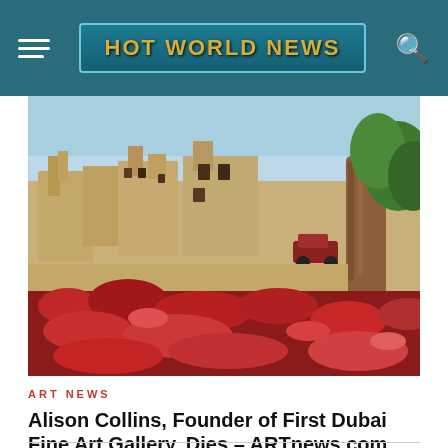HOT WORLD NEWS
[Figure (photo): Outdoor scene showing Middle Eastern/Arabian architecture with sandy-toned buildings and a tree, with vivid red and pink flowers or plants carpeting the ground in the foreground. Blue sky in the background.]
ART NEWS
Alison Collins, Founder of First Dubai Fine Art Gallery, Dies – ARTnews.com